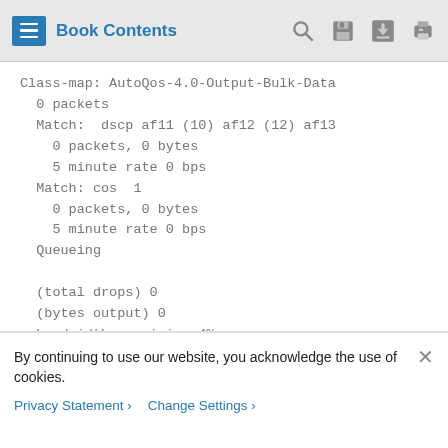Book Contents
Class-map: AutoQos-4.0-Output-Bulk-Data
  0 packets
  Match:  dscp af11 (10) af12 (12) af13
    0 packets, 0 bytes
    5 minute rate 0 bps
  Match: cos  1
    0 packets, 0 bytes
    5 minute rate 0 bps
  Queueing

  (total drops) 0
  (bytes output) 0
  bandwidth remaining 4%
  queue-buffers ratio 10
By continuing to use our website, you acknowledge the use of cookies.
Privacy Statement > Change Settings >